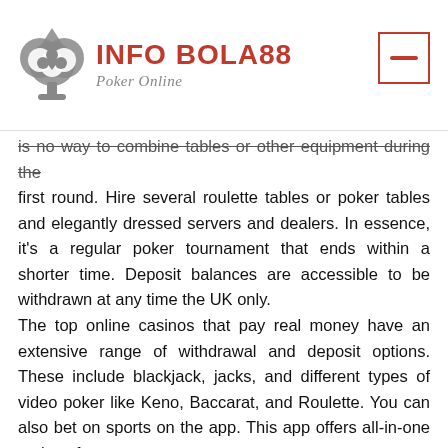[Figure (logo): INFO BOLA88 Poker Online logo with a stylized spade/heart symbol in grey and red text]
is no way to combine tables or other equipment during the first round. Hire several roulette tables or poker tables and elegantly dressed servers and dealers. In essence, it's a regular poker tournament that ends within a shorter time. Deposit balances are accessible to be withdrawn at any time the UK only. The top online casinos that pay real money have an extensive range of withdrawal and deposit options. These include blackjack, jacks, and different types of video poker like Keno, Baccarat, and Roulette. You can also bet on sports on the app. This app offers all-in-one options for